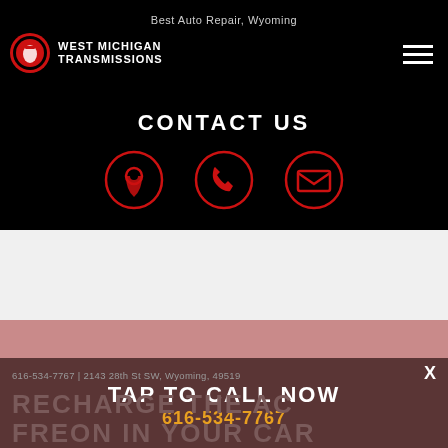Best Auto Repair, Wyoming
[Figure (logo): West Michigan Transmissions logo — red circle with Michigan state outline, white text 'WEST MICHIGAN TRANSMISSIONS']
CONTACT US
[Figure (infographic): Three red circular icons: map pin / location, phone handset, envelope / email]
616-534-7767 | 2143 28th St SW, Wyoming, 49519
TAP TO CALL NOW
616-534-7767
RECHARGE THE AC FREON IN YOUR CAR